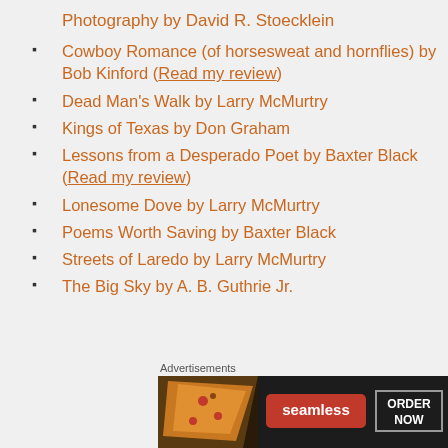Photography by David R. Stoecklein
Cowboy Romance (of horsesweat and hornflies) by Bob Kinford (Read my review)
Dead Man's Walk by Larry McMurtry
Kings of Texas by Don Graham
Lessons from a Desperado Poet by Baxter Black (Read my review)
Lonesome Dove by Larry McMurtry
Poems Worth Saving by Baxter Black
Streets of Laredo by Larry McMurtry
The Big Sky by A. B. Guthrie Jr.
Advertisements
[Figure (infographic): Seamless food delivery advertisement banner with pizza image on left, Seamless logo in red badge center, and ORDER NOW button on right, all on dark background]